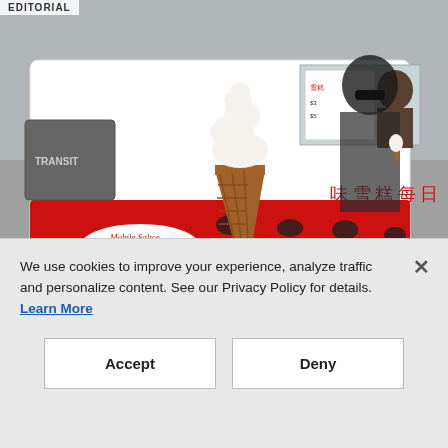[Figure (photo): Photo of an ice cream truck scene. A large red and white van (labeled 'Mobile Saltee' and '雪糕車') is parked. A person holds up a soft-serve ice cream cone in a waffle cone close to the camera. A woman in sunglasses and a striped top holds an ice cream and stands near the truck. Chinese characters on the truck and signs are visible.]
EDITORIAL
SOCIAL BUSINESS
Migrating from One Community Platform to Another? No Sweet
We use cookies to improve your experience, analyze traffic and personalize content. See our Privacy Policy for details. Learn More
Accept
Deny